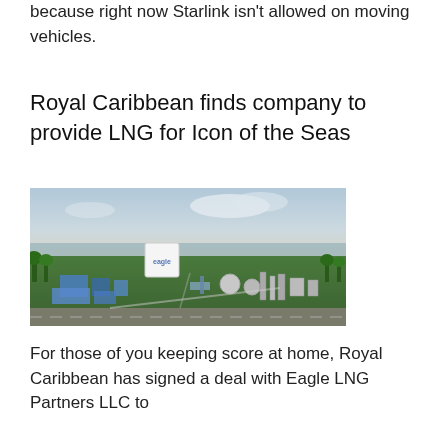because right now Starlink isn't allowed on moving vehicles.
Royal Caribbean finds company to provide LNG for Icon of the Seas
[Figure (photo): Aerial view of Eagle LNG Partners LLC facility, showing industrial LNG equipment, storage tanks, green grounds, and a large white Eagle branded cube/structure, near a waterfront.]
For those of you keeping score at home, Royal Caribbean has signed a deal with Eagle LNG Partners LLC to